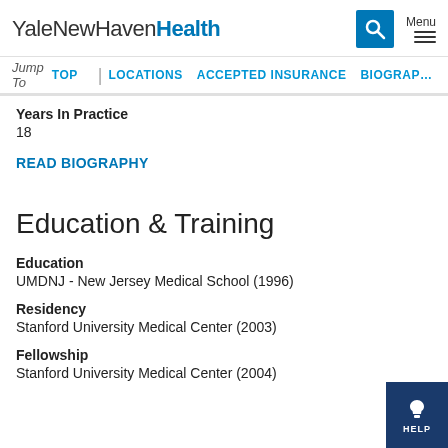YaleNewHavenHealth
Years In Practice
18
READ BIOGRAPHY
Education & Training
Education
UMDNJ - New Jersey Medical School (1996)
Residency
Stanford University Medical Center (2003)
Fellowship
Stanford University Medical Center (2004)